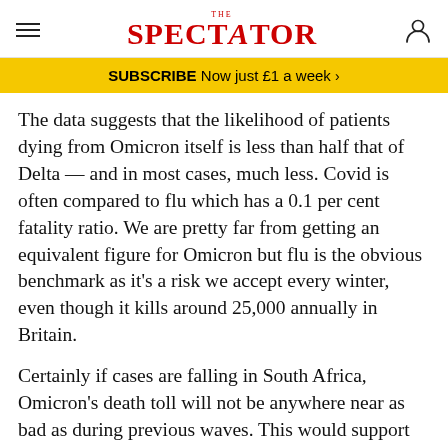THE SPECTATOR
SUBSCRIBE Now just £1 a week >
The data suggests that the likelihood of patients dying from Omicron itself is less than half that of Delta — and in most cases, much less. Covid is often compared to flu which has a 0.1 per cent fatality ratio. We are pretty far from getting an equivalent figure for Omicron but flu is the obvious benchmark as it's a risk we accept every winter, even though it kills around 25,000 annually in Britain.
Certainly if cases are falling in South Africa, Omicron's death toll will not be anywhere near as bad as during previous waves. This would support